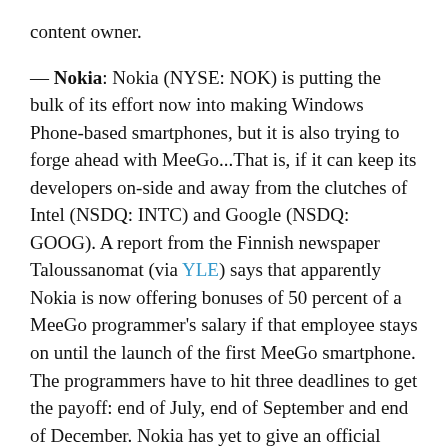content owner.

— Nokia: Nokia (NYSE: NOK) is putting the bulk of its effort now into making Windows Phone-based smartphones, but it is also trying to forge ahead with MeeGo...That is, if it can keep its developers on-side and away from the clutches of Intel (NSDQ: INTC) and Google (NSDQ: GOOG). A report from the Finnish newspaper Taloussanomat (via YLE) says that apparently Nokia is now offering bonuses of 50 percent of a MeeGo programmer's salary if that employee stays on until the launch of the first MeeGo smartphone. The programmers have to hit three deadlines to get the payoff: end of July, end of September and end of December. Nokia has yet to give an official launch date for the device, which some are speculating will be called the N950, and it is unclear really what it plans to do with the OS in the longer term.